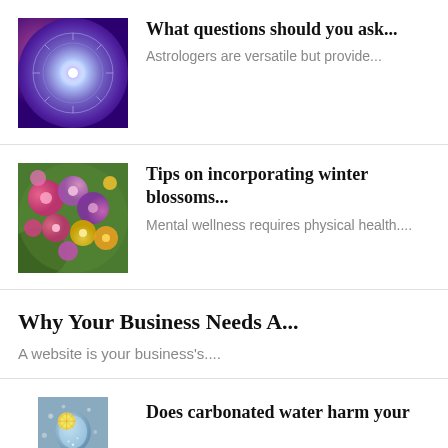[Figure (photo): Purple and pink galaxy/astrology wheel image with bright light at center]
What questions should you ask...
Astrologers are versatile but provide...
[Figure (photo): Colorful winter flowers, pink, purple, yellow blooms]
Tips on incorporating winter blossoms...
Mental wellness requires physical health....
Why Your Business Needs A...
A website is your business's....
[Figure (photo): Carbonated drink with lemon slice in glass]
Does carbonated water harm your